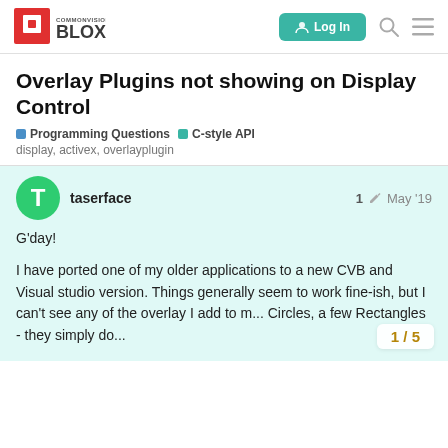[Figure (logo): CommonVision BLOX logo - red square icon with white square inside, text COMMONVISION above BLOX]
Overlay Plugins not showing on Display Control
Programming Questions  C-style API
display, activex, overlayplugin
taserface  1  May '19
G'day!

I have ported one of my older applications to a new CVB and Visual studio version. Things generally seem to work fine-ish, but I can't see any of the overlay I add to m... Circles, a few Rectangles - they simply do...
1 / 5